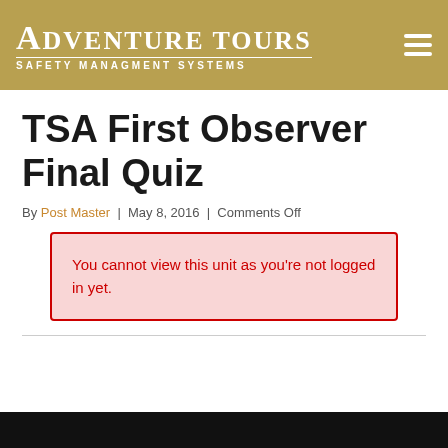Adventure Tours Safety Management Systems
TSA First Observer Final Quiz
By Post Master | May 8, 2016 | Comments Off
You cannot view this unit as you're not logged in yet.